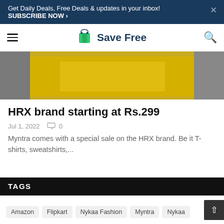Get Daily Deals, Free Deals & updates in your inbox! SUBSCRIBE NOW >
[Figure (logo): Save Free website logo with shopping bag icon and text 'Save Free']
[Figure (photo): Cropped photo of a person wearing a yellow tank top/shirt, HRX brand product image]
HRX brand starting at Rs.299
Jul 1, 2022  0
Myntra comes with a special sale on the HRX brand. Be it T-shirts, sweatshirts,...
TAGS
Amazon
Flipkart
Nykaa Fashion
Myntra
Nykaa